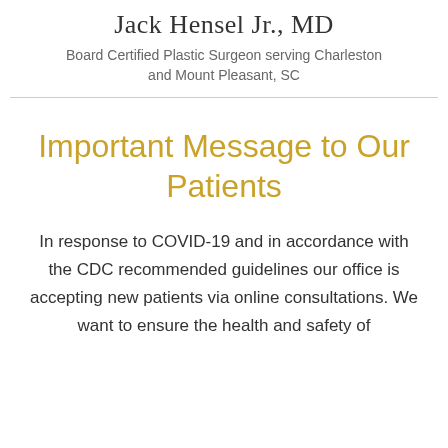Jack Hensel Jr., MD
Board Certified Plastic Surgeon serving Charleston and Mount Pleasant, SC
Important Message to Our Patients
In response to COVID-19 and in accordance with the CDC recommended guidelines our office is accepting new patients via online consultations. We want to ensure the health and safety of